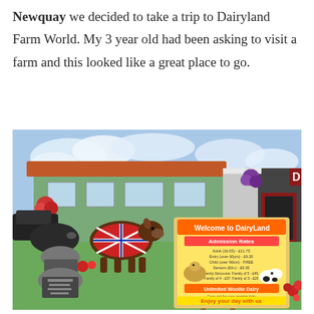Newquay we decided to take a trip to Dairyland Farm World. My 3 year old had been asking to visit a farm and this looked like a great place to go.
[Figure (photo): Outdoor photo of Dairyland Farm World entrance area showing decorated cow statues (one draped in a Union Jack flag), flower displays, memorial stones, and a welcome sign board reading 'Welcome to DairyLand' with admission prices and 'Enjoy your day with us'. A green building with terracotta roof and a red building entrance are visible in the background.]